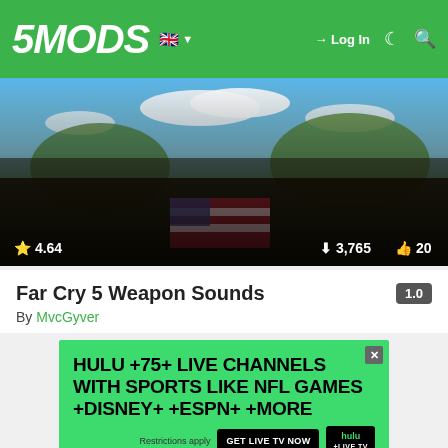5MODS | Log In
[Figure (screenshot): Far Cry 5 promotional art showing group of characters around a table with American flag, outdoor scenic background. Rating: 4.64 stars, 3,765 downloads, 20 likes.]
Far Cry 5 Weapon Sounds
By MvcGyver
[Figure (infographic): Hulu advertisement banner: HULU +75+ LIVE CHANNELS WITH SPORTS LIKE NFL GAMES +DISNEY+ +ESPN+ +MORE. GET LIVE TV NOW button. Restrictions apply.]